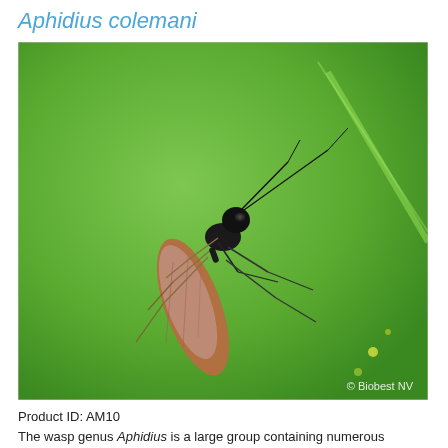Aphidius colemani
[Figure (photo): Close-up macro photograph of an Aphidius colemani parasitic wasp on a green leaf surface. The wasp is black with long antennae and slender legs, with brownish translucent wings and an elongated abdomen. Watermark reads '© Biobest NV' in the lower right corner.]
Product ID: AM10
The wasp genus Aphidius is a large group containing numerous